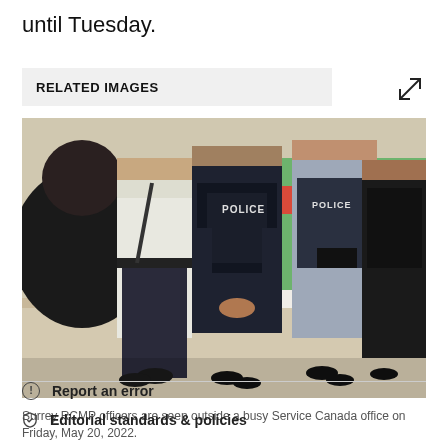until Tuesday.
RELATED IMAGES
[Figure (photo): Surrey RCMP officers standing outside a busy Service Canada office, wearing police uniforms and tactical gear, with a colorful green, yellow, and red brick wall in the background.]
Surrey RCMP officers are seen outside a busy Service Canada office on Friday, May 20, 2022.
Report an error
Editorial standards & policies